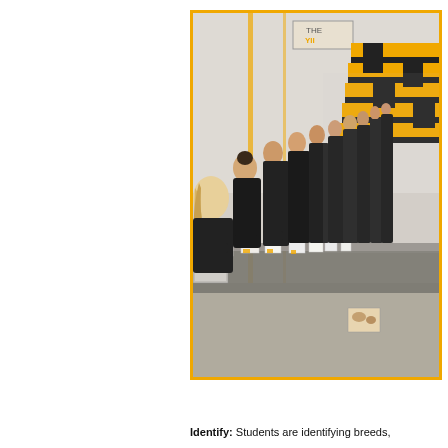[Figure (photo): Students in black clothing leaning over a long gray table in a gym, studying papers and binders. Orange and black bleachers visible in background. Students appear to be identifying animal breeds from photographs placed on the table.]
Identify: Students are identifying breeds,